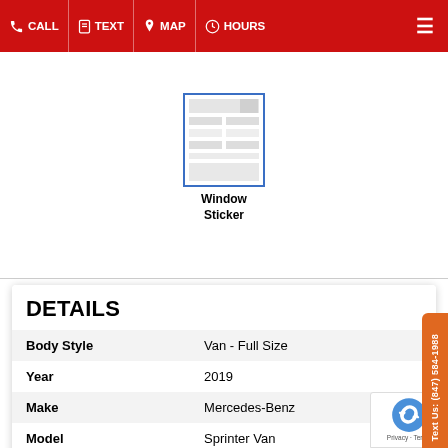CALL | TEXT | MAP | HOURS
[Figure (screenshot): Window Sticker thumbnail image showing a car window sticker document]
Window Sticker
DETAILS
| Body Style | Van - Full Size |
| Year | 2019 |
| Make | Mercedes-Benz |
| Model | Sprinter Van |
| Package | Cargo 170 WB |
| Mileage | 30,955 |
| Engine | 3.0L 6 CYL. DIESEL |
| Fuel | DIESEL |
| Transmission | AUTOMATIC |